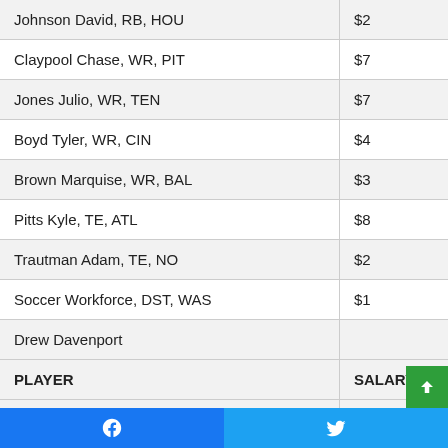| PLAYER | SALARY |
| --- | --- |
| Johnson David, RB, HOU | $2 |
| Claypool Chase, WR, PIT | $7 |
| Jones Julio, WR, TEN | $7 |
| Boyd Tyler, WR, CIN | $4 |
| Brown Marquise, WR, BAL | $3 |
| Pitts Kyle, TE, ATL | $8 |
| Trautman Adam, TE, NO | $2 |
| Soccer Workforce, DST, WAS | $1 |
| Drew Davenport |  |
| PLAYER | SALARY |
| Wilson Russell, QB, SEA | $4 |